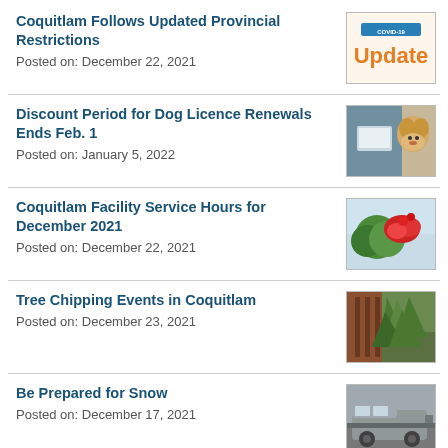Coquitlam Follows Updated Provincial Restrictions
Posted on: December 22, 2021
[Figure (illustration): COVID-19 Update graphic with orange Update text on cream background]
Discount Period for Dog Licence Renewals Ends Feb. 1
Posted on: January 5, 2022
[Figure (photo): Golden retriever dog with person using laptop]
Coquitlam Facility Service Hours for December 2021
Posted on: December 22, 2021
[Figure (photo): Christmas decorations with red poinsettia and snow]
Tree Chipping Events in Coquitlam
Posted on: December 23, 2021
[Figure (photo): Christmas trees being chipped]
Be Prepared for Snow
Posted on: December 17, 2021
[Figure (photo): Snow plow truck in parking lot]